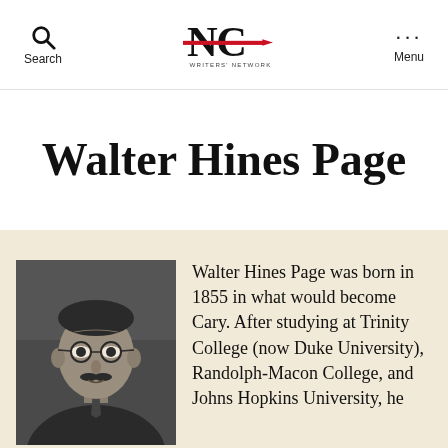Search | NC Writers' Network | Menu
Walter Hines Page
[Figure (photo): Black and white portrait photograph of Walter Hines Page, a man wearing glasses and a suit with a tie, looking slightly to the side.]
Walter Hines Page was born in 1855 in what would become Cary. After studying at Trinity College (now Duke University), Randolph-Macon College, and Johns Hopkins University, he